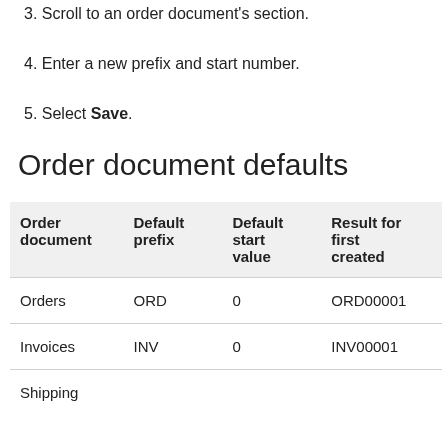3. Scroll to an order document's section.
4. Enter a new prefix and start number.
5. Select Save.
Order document defaults
| Order document | Default prefix | Default start value | Result for first created |
| --- | --- | --- | --- |
| Orders | ORD | 0 | ORD00001 |
| Invoices | INV | 0 | INV00001 |
| Shipping |  |  |  |